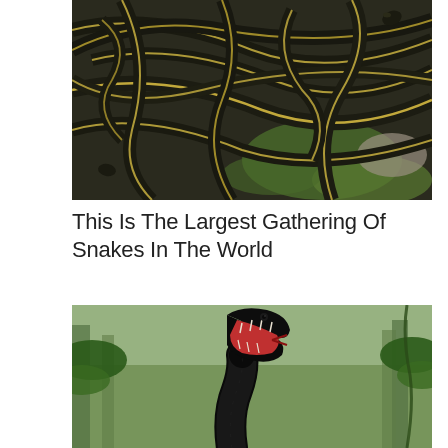[Figure (photo): A large mass of black and yellow striped garter snakes intertwined on mossy ground and rocks — the largest gathering of snakes in the world.]
This Is The Largest Gathering Of Snakes In The World
[Figure (photo): A large black snake (illustrated/CGI) with its mouth wide open showing a red interior and teeth, set against a jungle background with green trees and mist.]